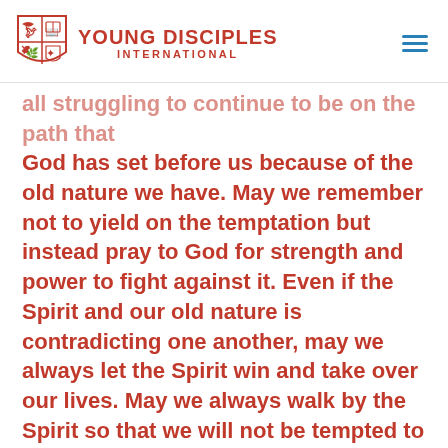Young Disciples International
all struggling to continue to be on the path that God has set before us because of the old nature we have. May we remember not to yield on the temptation but instead pray to God for strength and power to fight against it. Even if the Spirit and our old nature is contradicting one another, may we always let the Spirit win and take over our lives. May we always walk by the Spirit so that we will not be tempted to yield into the darkness again.